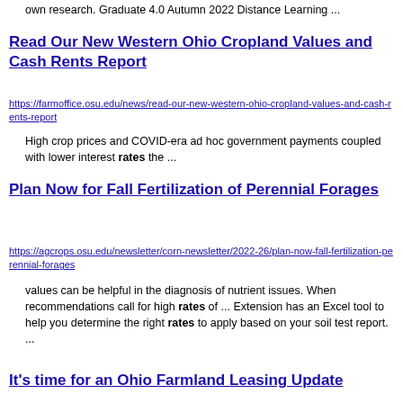own research. Graduate 4.0 Autumn 2022 Distance Learning ...
Read Our New Western Ohio Cropland Values and Cash Rents Report
https://farmoffice.osu.edu/news/read-our-new-western-ohio-cropland-values-and-cash-rents-report
High crop prices and COVID-era ad hoc government payments coupled with lower interest rates the ...
Plan Now for Fall Fertilization of Perennial Forages
https://agcrops.osu.edu/newsletter/corn-newsletter/2022-26/plan-now-fall-fertilization-perennial-forages
values can be helpful in the diagnosis of nutrient issues. When recommendations call for high rates of ... Extension has an Excel tool to help you determine the right rates to apply based on your soil test report. ...
It's time for an Ohio Farmland Leasing Update